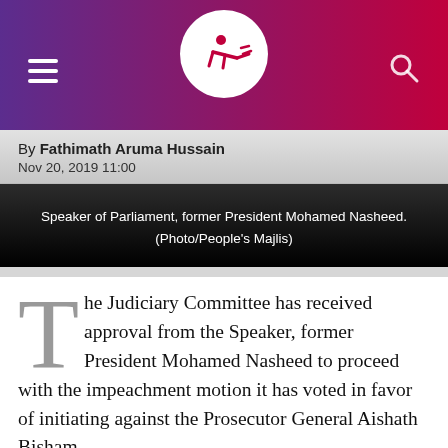Mihaaru news site header with hamburger menu, logo, and search icon
By Fathimath Aruma Hussain
Nov 20, 2019 11:00
Speaker of Parliament, former President Mohamed Nasheed. (Photo/People's Majlis)
The Judiciary Committee has received approval from the Speaker, former President Mohamed Nasheed to proceed with the impeachment motion it has voted in favor of initiating against the Prosecutor General Aishath Bisham.